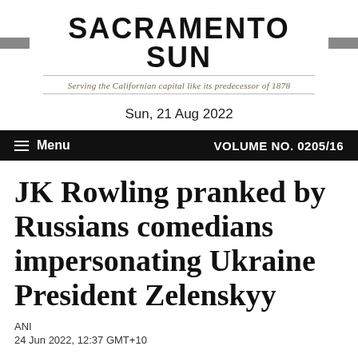SACRAMENTO SUN — Serving the Californian capital like its predecessor of 1878
Sun, 21 Aug 2022
Menu | VOLUME NO. 0205/16
JK Rowling pranked by Russians comedians impersonating Ukraine President Zelenskyy
ANI
24 Jun 2022, 12:37 GMT+10